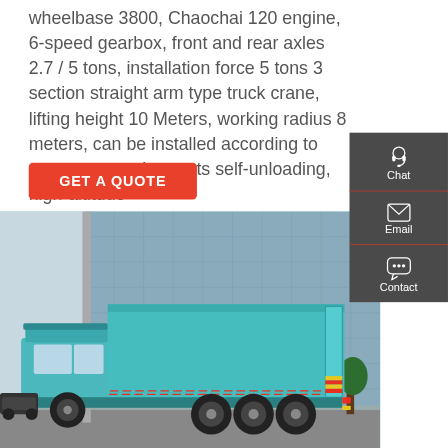wheelbase 3800, Chaochai 120 engine, 6-speed gearbox, front and rear axles 2.7 / 5 tons, installation force 5 tons 3 section straight arm type truck crane, lifting height 10 Meters, working radius 8 meters, can be installed according to customer requirements self-unloading, high-altitude
[Figure (other): Red 'GET A QUOTE' button]
[Figure (photo): A large teal/cyan dump truck with a raised cargo bed parked in front of a glass-facade commercial building. The truck has multiple rear axles and reflective safety striping.]
[Figure (infographic): Dark gray sidebar panel with three items: Chat (headset icon), Email (envelope icon), Contact (speech bubble icon), each separated by a red line.]